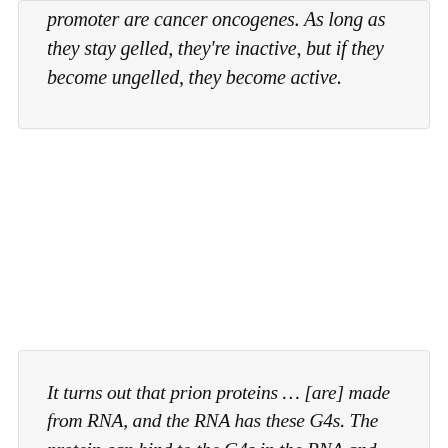promoter are cancer oncogenes. As long as they stay gelled, they're inactive, but if they become ungelled, they become active.
It turns out that prion proteins … [are] made from RNA, and the RNA has these G4s. The protein can bind to the G4s in the RNA and both of them react. The theory is that the protein becomes prion-like. These prion proteins have two ways to be, one is safe and one is not safe, and the G4s increase the risk for prion protein misfolding.